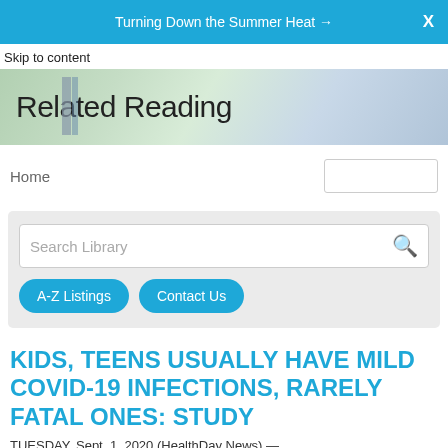Turning Down the Summer Heat →  X
Skip to content
Related Reading
Home
Search Library
A-Z Listings
Contact Us
KIDS, TEENS USUALLY HAVE MILD COVID-19 INFECTIONS, RARELY FATAL ONES: STUDY
TUESDAY, Sept. 1, 2020 (HealthDay News) —